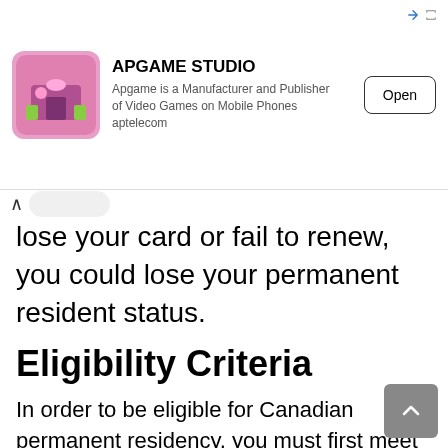[Figure (screenshot): APGAME STUDIO advertisement banner with game icon, description text 'Apgame is a Manufacturer and Publisher of Video Games on Mobile Phones aptelecom', and an Open button]
lose your card or fail to renew, you could lose your permanent resident status.
Eligibility Criteria
In order to be eligible for Canadian permanent residency, you must first meet the following criteria:
You must be a legal resident of